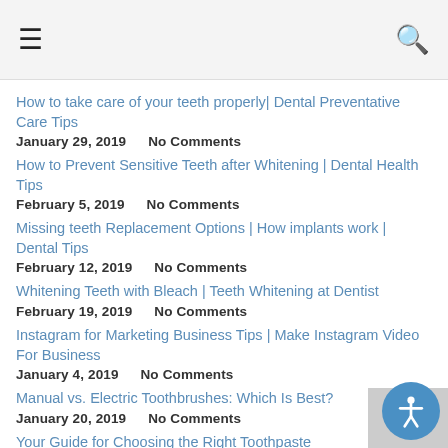≡  🔍
How to take care of your teeth properly| Dental Preventative Care Tips
January 29, 2019    No Comments
How to Prevent Sensitive Teeth after Whitening | Dental Health Tips
February 5, 2019    No Comments
Missing teeth Replacement Options | How implants work | Dental Tips
February 12, 2019    No Comments
Whitening Teeth with Bleach | Teeth Whitening at Dentist
February 19, 2019    No Comments
Instagram for Marketing Business Tips | Make Instagram Video For Business
January 4, 2019    No Comments
Manual vs. Electric Toothbrushes: Which Is Best?
January 20, 2019    No Comments
Your Guide for Choosing the Right Toothpaste
January 27, 2019    No Comments